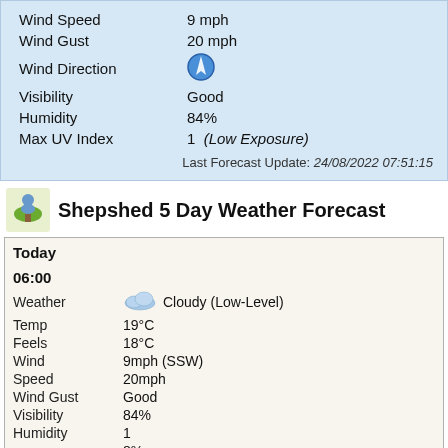| Property | Value |
| --- | --- |
| Wind Speed | 9 mph |
| Wind Gust | 20 mph |
| Wind Direction | (arrow icon) |
| Visibility | Good |
| Humidity | 84% |
| Max UV Index | 1  (Low Exposure) |
Last Forecast Update: 24/08/2022 07:51:15
Shepshed 5 Day Weather Forecast
Today
06:00
| Label | Value |
| --- | --- |
| Weather | Cloudy (Low-Level) |
| Temp | 19°C |
| Feels | 18°C |
| Wind | 9mph (SSW) |
| Speed | 20mph |
| Wind Gust | Good |
| Visibility | 84% |
| Humidity | 1 |
|  | 8% |
09:00
Cloudy (Medium-Level)